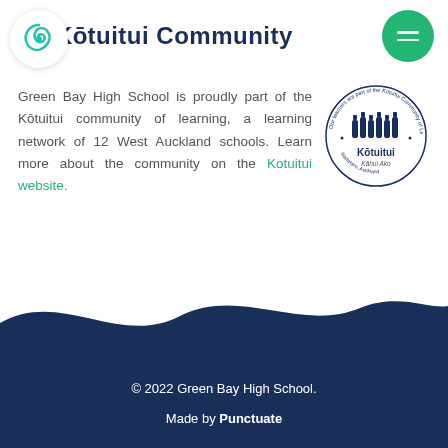[Figure (logo): Kōtuitui community logo circle with swirl icon]
Kōtuitui Community
[Figure (logo): Green menu button (hamburger icon) in top right corner]
Green Bay High School is proudly part of the Kōtuitui community of learning, a learning network of 12 West Auckland schools. Learn more about the community on the Kotuitui website.
[Figure (logo): Kōtuitui circular badge/stamp logo with Kōtuitui Kāhui Ako text and Waitakere Auckland]
© 2022 Green Bay High School.
Made by Punctuate